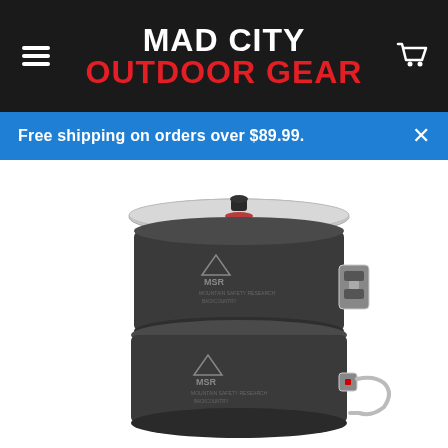MAD CITY OUTDOOR GEAR — navigation header with hamburger menu and cart icon
Free shipping on orders over $89.99.
[Figure (photo): MSR cookware set consisting of two dark anodized aluminum pots stacked together with a silver lid on top. The upper pot is larger with a locking handle attachment, and the lower pot has a folding wire handle extending to the right. Both pots bear the MSR logo and branding.]